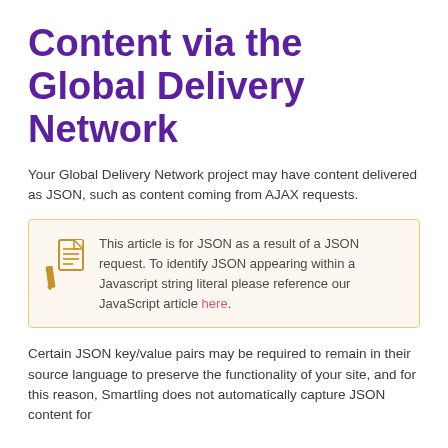Content via the Global Delivery Network
Your Global Delivery Network project may have content delivered as JSON, such as content coming from AJAX requests.
This article is for JSON as a result of a JSON request. To identify JSON appearing within a Javascript string literal please reference our JavaScript article here.
Certain JSON key/value pairs may be required to remain in their source language to preserve the functionality of your site, and for this reason, Smartling does not automatically capture JSON content for